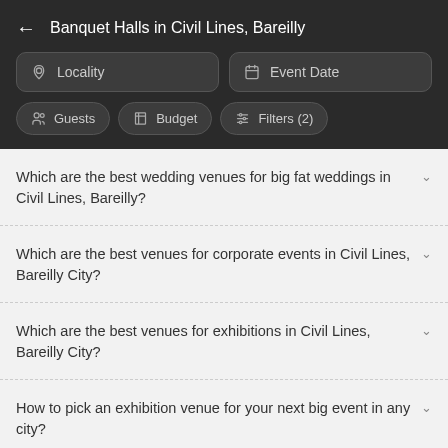Banquet Halls in Civil Lines, Bareilly
Locality | Event Date | Guests | Budget | Filters (2)
Which are the best wedding venues for big fat weddings in Civil Lines, Bareilly?
Which are the best venues for corporate events in Civil Lines, Bareilly City?
Which are the best venues for exhibitions in Civil Lines, Bareilly City?
How to pick an exhibition venue for your next big event in any city?